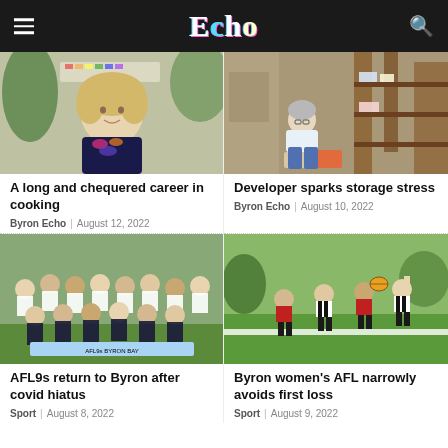Echo
[Figure (photo): Smiling older blonde woman in colorful floral top indoors with tropical plants]
A long and chequered career in cooking
Byron Echo | August 12, 2022
[Figure (photo): Woman crouching in an outdoor wooden workshop with storage boxes and shelves]
Developer sparks storage stress
Byron Echo | August 10, 2022
[Figure (photo): Group of AFL9s players in black and white uniforms posing for a team photo]
AFL9s return to Byron after covid hiatus
Sport | August 8, 2022
[Figure (photo): Women playing AFL football on a grass field, action shot with players competing for the ball]
Byron women's AFL narrowly avoids first loss
Sport | August 9, 2022